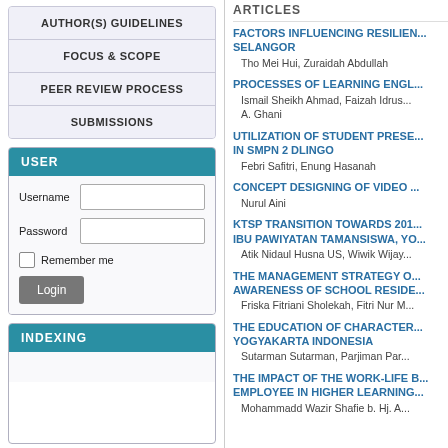AUTHOR(S) GUIDELINES
FOCUS & SCOPE
PEER REVIEW PROCESS
SUBMISSIONS
USER
Username [input] Password [input] Remember me [checkbox] Login [button]
INDEXING
ARTICLES
FACTORS INFLUENCING RESILIEN... SELANGOR
Tho Mei Hui, Zuraidah Abdullah
PROCESSES OF LEARNING ENGL...
Ismail Sheikh Ahmad, Faizah Idrus...
A. Ghani
UTILIZATION OF STUDENT PRESE... IN SMPN 2 DLINGO
Febri Safitri, Enung Hasanah
CONCEPT DESIGNING OF VIDEO ...
Nurul Aini
KTSP TRANSITION TOWARDS 201... IBU PAWIYATAN TAMANSISWA, YO...
Atik Nidaul Husna US, Wiwik Wijay...
THE MANAGEMENT STRATEGY O... AWARENESS OF SCHOOL RESIDE...
Friska Fitriani Sholekah, Fitri Nur M...
THE EDUCATION OF CHARACTER... YOGYAKARTA INDONESIA
Sutarman Sutarman, Parjiman Par...
THE IMPACT OF THE WORK-LIFE B... EMPLOYEE IN HIGHER LEARNING...
Mohammadd Wazir Shafie b. Hj. A...